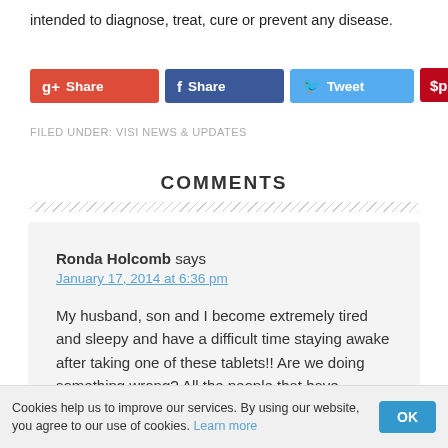intended to diagnose, treat, cure or prevent any disease.
[Figure (other): Social sharing buttons: Google+ Share, Facebook Share, Twitter Tweet, Pinterest with count 0]
FILED UNDER: VISI NEWS & UPDATES
COMMENTS
Ronda Holcomb says
January 17, 2014 at 6:36 pm
My husband, son and I become extremely tired and sleepy and have a difficult time staying awake after taking one of these tablets!! Are we doing something wrong? All the people that have
Cookies help us to improve our services. By using our website, you agree to our use of cookies. Learn more